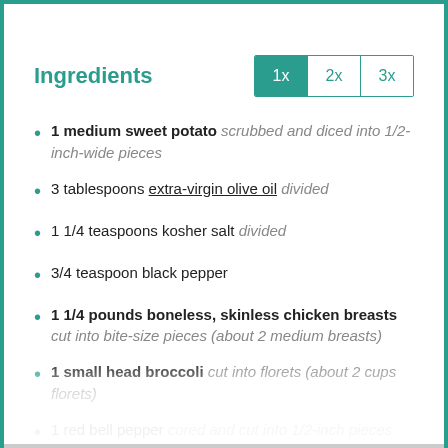Ingredients
1 medium sweet potato scrubbed and diced into 1/2-inch-wide pieces
3 tablespoons extra-virgin olive oil divided
1 1/4 teaspoons kosher salt divided
3/4 teaspoon black pepper
1 1/4 pounds boneless, skinless chicken breasts cut into bite-size pieces (about 2 medium breasts)
1 small head broccoli cut into florets (about 2 cups florets)
1 red bell pepper cored and cut into 1/2-inch pieces